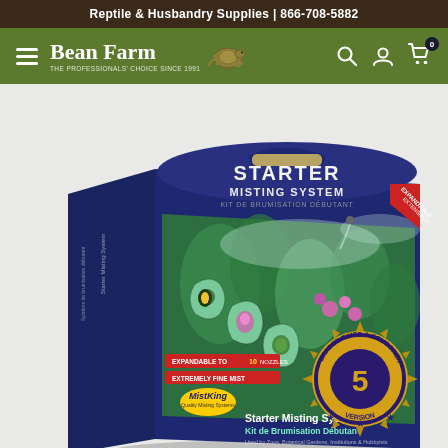Reptile & Husbandry Supplies | 866-708-5882
[Figure (logo): Bean Farm logo with turtle icon and tagline 'The Professionals' Choice Since 1991']
[Figure (photo): MistKing Starter Misting System product box. Dark blue/navy box with handle, showing lush green tropical plants with mist, orchids, and a poison dart frog. Text on box: STARTER MISTING SYSTEM, KIT DE BRUMISATION DÉBUTANT, Expandable to 10 nozzles, Supports 10+ plants, Extremely Fine Mist, MistKing Quality Misting Systems, Starter Misting System, Kit de Brumisation Débutant, Used by Zoos, Botanical Gardens, Institutions & Hobbyists. Gold badge: UPGRADED TIMER & COMPONENTS, VERSION 5. Red corner ribbon: EXPANDABLE / EXTENSIBLE!]